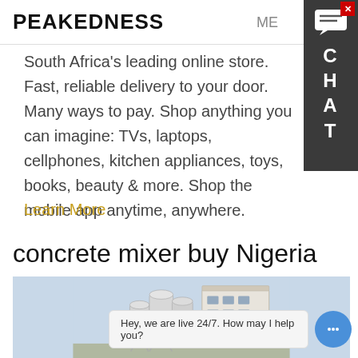PEAKEDNESS
South Africa's leading online store. Fast, reliable delivery to your door. Many ways to pay. Shop anything you can imagine: TVs, laptops, cellphones, kitchen appliances, toys, books, beauty & more. Shop the mobile app anytime, anywhere.
Learn More
concrete mixer buy Nigeria
[Figure (photo): Photo of a concrete batching plant with large cylindrical silos and industrial building structure against a light blue sky.]
Hey, we are live 24/7. How may I help you?